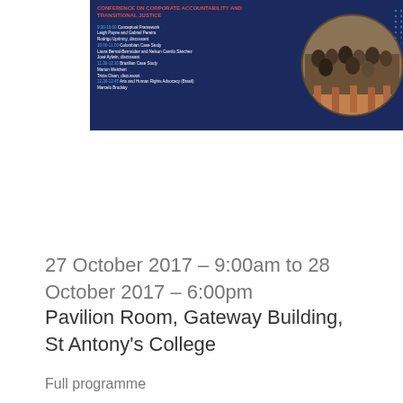[Figure (infographic): Conference banner with dark navy blue background. Left side shows schedule text with red title 'CONFERENCE ON CORPORATE ACCOUNTABILITY AND TRANSITIONAL JUSTICE' and time slots in blue. Right side shows a circular image of a crowd painting.]
27 October 2017 – 9:00am to 28 October 2017 – 6:00pm
Pavilion Room, Gateway Building, St Antony's College
Full programme